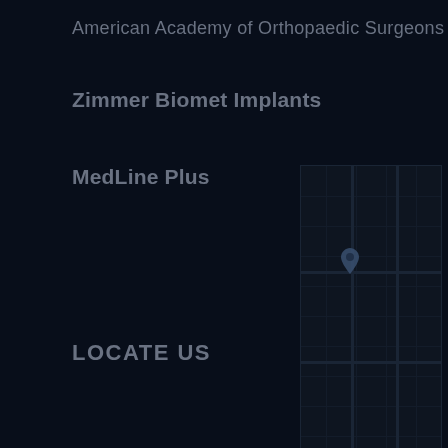American Academy of Orthopaedic Surgeons
Zimmer Biomet Implants
MedLine Plus
LOCATE US
[Figure (map): Dark-themed map showing a location with grid roads and a marker pin, positioned on the right side of the page spanning from the MedLine Plus section down through the Locate Us section.]